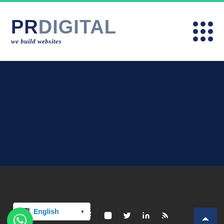[Figure (logo): PRdigital logo with tagline 'we build websites' in dark navy and gray]
[Figure (other): Dark navy blue background section (hero/banner area, empty)]
© Copyright 2022, PRdigital All Rights Reserved
[Figure (other): Language selector dropdown showing UK flag and 'English']
[Figure (other): Social media icons: Facebook, Instagram, Twitter, LinkedIn, RSS; WhatsApp button; Back to top button]